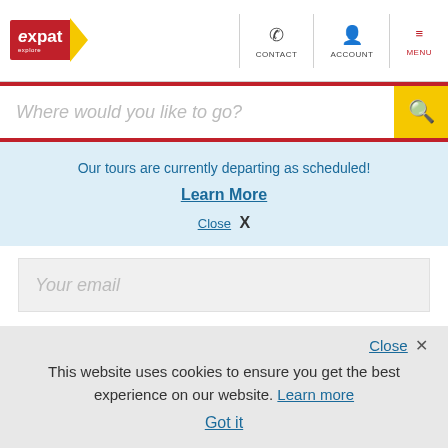Expat Explore | CONTACT | ACCOUNT | MENU
Where would you like to go?
Our tours are currently departing as scheduled!
Learn More
Close X
Your email
Your Comment
Close X
This website uses cookies to ensure you get the best experience on our website. Learn more
Got it